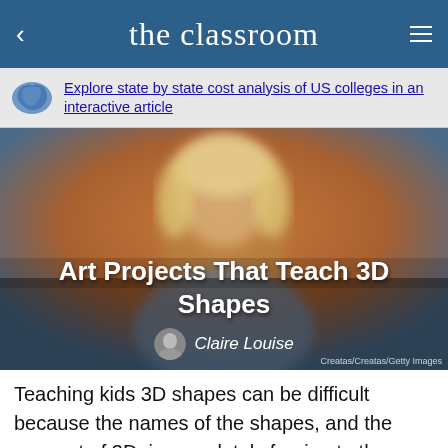the classroom
Explore state by state cost analysis of US colleges in an interactive article
[Figure (photo): Blurred image of a blonde child, overlaid with article title 'Art Projects That Teach 3D Shapes' and author credit 'Claire Louise'. Photo credit: Creatas/Creatas/Getty Images]
Art Projects That Teach 3D Shapes
Claire Louise
Teaching kids 3D shapes can be difficult because the names of the shapes, and the concept of 3D, is completely foreign to them. Using art projects can